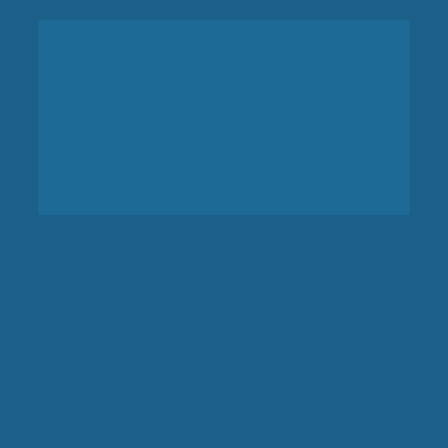[Figure (photo): Large blue-tinted image area occupying the top portion of the page, likely a portrait photo with blue overlay]
Sharon Walker, PACS
Sharon embraces PACS as it broadened her knowledge on prior authorization and reimbursement practices.
Sharon Walker, PACS
Specialty Field Reimbursement Manager, GSK